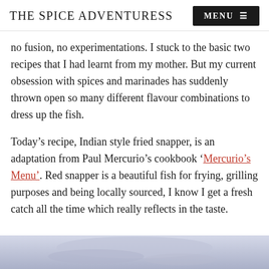THE SPICE ADVENTURESS
no fusion, no experimentations. I stuck to the basic two recipes that I had learnt from my mother. But my current obsession with spices and marinades has suddenly thrown open so many different flavour combinations to dress up the fish.
Today’s recipe, Indian style fried snapper, is an adaptation from Paul Mercurio’s cookbook ‘Mercurio’s Menu’. Red snapper is a beautiful fish for frying, grilling purposes and being locally sourced, I know I get a fresh catch all the time which really reflects in the taste.
[Figure (photo): Bottom portion of a photograph showing a dish, partially visible at the bottom of the page]